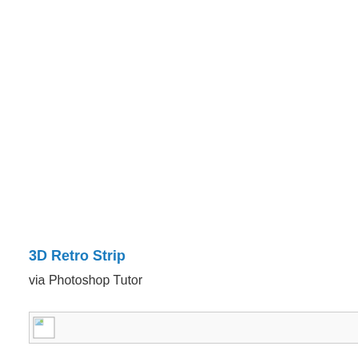3D Retro Strip
via Photoshop Tutor
[Figure (photo): Broken image placeholder with a small image icon in the top-left corner, bordered by a thin gray rectangle]